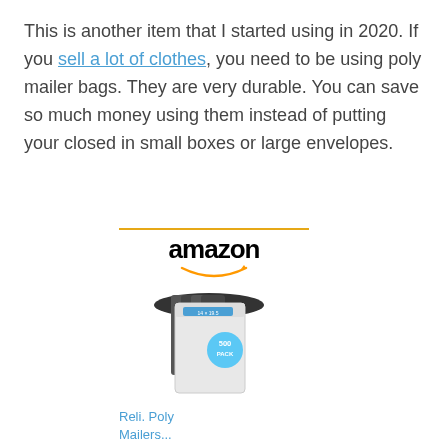This is another item that I started using in 2020. If you sell a lot of clothes, you need to be using poly mailer bags. They are very durable. You can save so much money using them instead of putting your closed in small boxes or large envelopes.
[Figure (screenshot): Amazon product widget showing Reli. Poly Mailers priced at $39.99 with Prime badge and Shop now button]